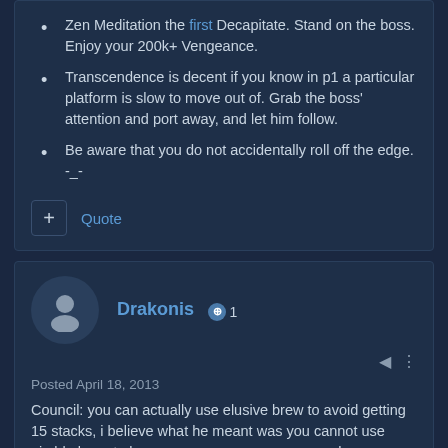Zen Meditation the first Decapitate. Stand on the boss. Enjoy your 200k+ Vengeance.
Transcendence is decent if you know in p1 a particular platform is slow to move out of. Grab the boss' attention and port away, and let him follow.
Be aware that you do not accidentally roll off the edge. -_-
Quote
Drakonis +1
Posted April 18, 2013
Council: you can actually use elusive brew to avoid getting 15 stacks, i believe what he meant was you cannot use nimble brew to brea... he is apply... st
[Figure (screenshot): Westworld HBO Max advertisement banner with skull image and 'SEE THE BATTLE FOR THE FUTURE' text, HBO Max logo and 'SIGN UP NOW' button]